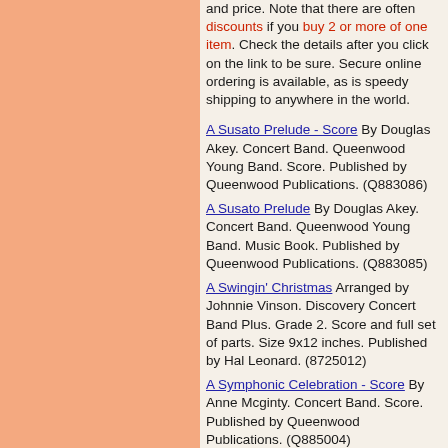and price. Note that there are often discounts if you buy 2 or more of one item. Check the details after you click on the link to be sure. Secure online ordering is available, as is speedy shipping to anywhere in the world.
A Susato Prelude - Score By Douglas Akey. Concert Band. Queenwood Young Band. Score. Published by Queenwood Publications. (Q883086)
A Susato Prelude By Douglas Akey. Concert Band. Queenwood Young Band. Music Book. Published by Queenwood Publications. (Q883085)
A Swingin' Christmas Arranged by Johnnie Vinson. Discovery Concert Band Plus. Grade 2. Score and full set of parts. Size 9x12 inches. Published by Hal Leonard. (8725012)
A Symphonic Celebration - Score By Anne Mcginty. Concert Band. Score. Published by Queenwood Publications. (Q885004)
A Symphonic Celebration By Anne Mcginty. Concert Band. Music Book.